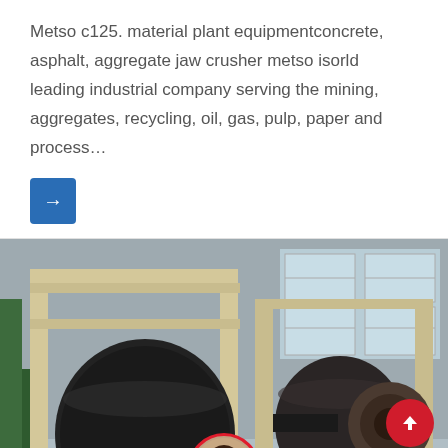Metso c125. material plant equipmentconcrete, asphalt, aggregate jaw crusher metso isorld leading industrial company serving the mining, aggregates, recycling, oil, gas, pulp, paper and process…
[Figure (photo): Industrial conveyor belt machinery and roll equipment in a factory setting with light-colored metal frames and a black roller, with factory windows and structure visible in the background]
Leave Message
Chat Online